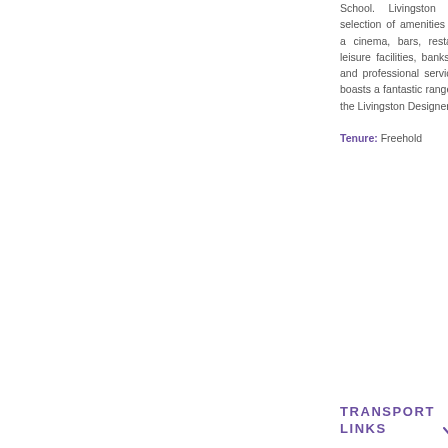School. Livingston offers a superb selection of amenities with supermarkets, a cinema, bars, restaurants, sport and leisure facilities, banks, building societies and professional services. The town also boasts a fantastic range of shops including the Livingston Designer...
Tenure: Freehold
TRANSPORT LINKS